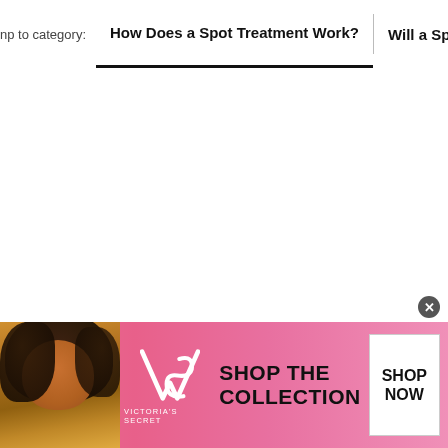np to category:   How Does a Spot Treatment Work?   |   Will a Spot Tre
[Figure (photo): Victoria's Secret advertisement banner with a woman model, VS logo, 'SHOP THE COLLECTION' text, and a 'SHOP NOW' button on a pink gradient background]